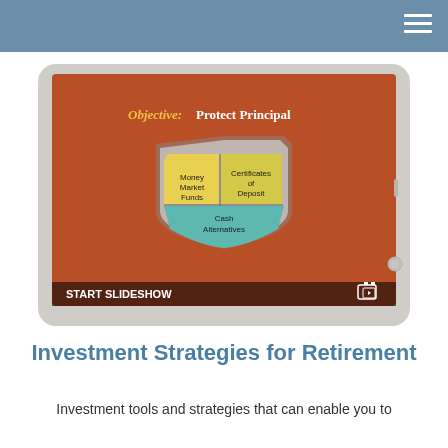[Figure (screenshot): A tablet device displaying a slideshow slide titled 'Objective: Protect Principal' with a shield graphic containing three sections labeled 'Money Market Funds', 'Certificates of Deposit', and 'Cash Alternatives'. The bottom of the image shows 'START SLIDESHOW' text with a slideshow icon.]
Investment Strategies for Retirement
Investment tools and strategies that can enable you to